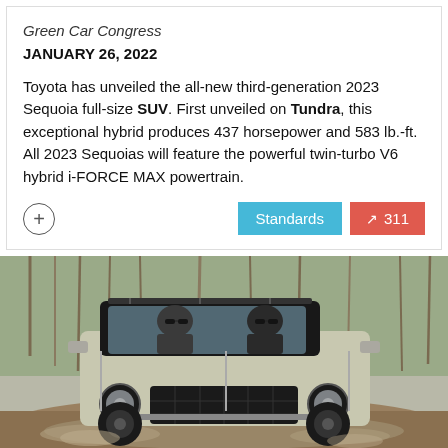Green Car Congress
JANUARY 26, 2022
Toyota has unveiled the all-new third-generation 2023 Sequoia full-size SUV. First unveiled on Tundra, this exceptional hybrid produces 437 horsepower and 583 lb.-ft. All 2023 Sequoias will feature the powerful twin-turbo V6 hybrid i-FORCE MAX powertrain.
[Figure (photo): A muddy off-road SUV (Ford Bronco type vehicle) driving through water/mud with two occupants wearing sunglasses, forest trees visible in background]